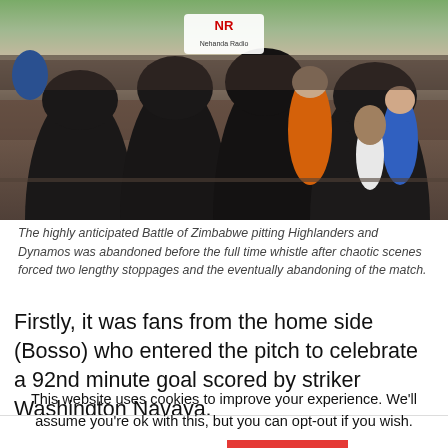[Figure (photo): Crowd of people at a football stadium, viewed from behind, with a logo overlay visible at the top center of the image (Nehanda Radio logo).]
The highly anticipated Battle of Zimbabwe pitting Highlanders and Dynamos was abandoned before the full time whistle after chaotic scenes forced two lengthy stoppages and the eventually abandoning of the match.
Firstly, it was fans from the home side (Bosso) who entered the pitch to celebrate a 92nd minute goal scored by striker Washington Navaya.
This website uses cookies to improve your experience. We'll assume you're ok with this, but you can opt-out if you wish.